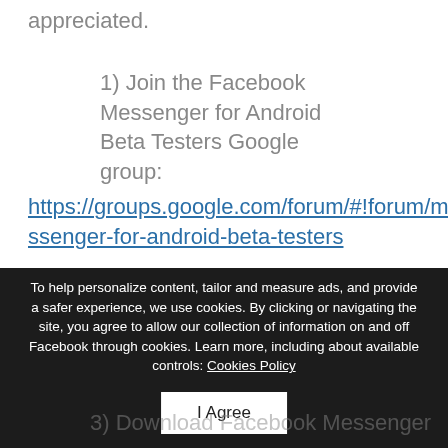appreciated.
1) Join the Facebook Messenger for Android Beta Testers Google group:
https://groups.google.com/forum/#!forum/messenger-for-android-beta-testers
To help personalize content, tailor and measure ads, and provide a safer experience, we use cookies. By clicking or navigating the site, you agree to allow our collection of information on and off Facebook through cookies. Learn more, including about available controls: Cookies Policy
I Agree
3) Download Facebook Messenger